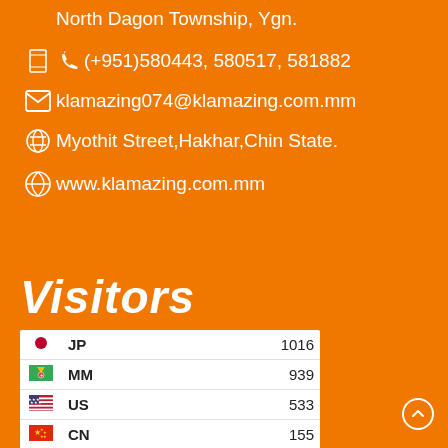North Dagon Township, Ygn.
(+951)580443, 580517, 581882
klamazing074@klamazing.com.mm
Myothit Street,Hakhar,Chin State.
www.klamazing.com.mm
Visitors
| Flag | Country | Count |
| --- | --- | --- |
| 🇯🇵 | JP | 1016 |
| 🇲🇲 | MM | 939 |
| 🇺🇸 | US | 533 |
| 🇨🇳 | CN | 155 |
| 🇸🇬 | SG | 137 |
| 🇦🇺 | AU | 63 |
| 🇨🇦 | CA | 61 |
| 🇹🇭 | TH | 45 |
| 🇮🇳 | IN | 30 |